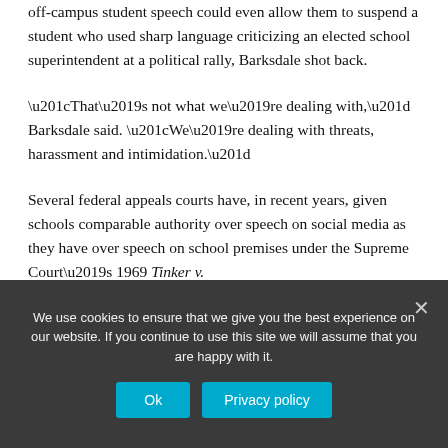off-campus student speech could even allow them to suspend a student who used sharp language criticizing an elected school superintendent at a political rally, Barksdale shot back.
“That’s not what we’re dealing with,” Barksdale said. “We’re dealing with threats, harassment and intimidation.”
Several federal appeals courts have, in recent years, given schools comparable authority over speech on social media as they have over speech on school premises under the Supreme Court’s 1969 Tinker v.
We use cookies to ensure that we give you the best experience on our website. If you continue to use this site we will assume that you are happy with it.